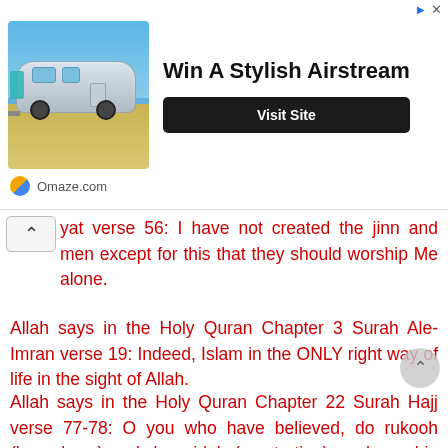[Figure (illustration): Advertisement banner for Omaze.com featuring a photo of an Airstream trailer on a beach with text 'Win A Stylish Airstream' and a 'Visit Site' button.]
yat verse 56: I have not created the jinn and men except for this that they should worship Me alone.
Allah says in the Holy Quran Chapter 3 Surah Ale-Imran verse 19: Indeed, Islam in the ONLY right way of life in the sight of Allah.
Allah says in the Holy Quran Chapter 22 Surah Hajj verse 77-78: O you who have believed, do rukooh (bow down) and do sajdah (prostration), and worship your Lord Allah Alone, and do righteous deeds: it